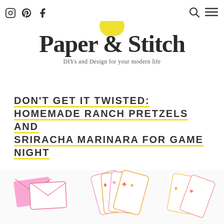Social icons: Instagram, Pinterest, Facebook; Search; Menu
[Figure (logo): Paper & Stitch logo with yellow circle accent, subtitle: DIYs and Design for your modern life]
DON'T GET IT TWISTED: HOMEMADE RANCH PRETZELS AND SRIRACHA MARINARA FOR GAME NIGHT
[Figure (photo): Bottom strip of a photo showing pink envelopes and playing cards with pink and orange patterns on a white background]